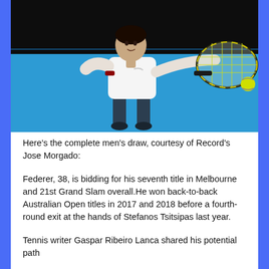[Figure (photo): Tennis player in white sleeveless shirt and dark shorts hitting a forehand shot on a blue hard court, holding a yellow and black tennis racket, with a yellow tennis ball visible in the air]
Here’s the complete men’s draw, courtesy of Record’s Jose Morgado:
Federer, 38, is bidding for his seventh title in Melbourne and 21st Grand Slam overall.He won back-to-back Australian Open titles in 2017 and 2018 before a fourth-round exit at the hands of Stefanos Tsitsipas last year.
Tennis writer Gaspar Ribeiro Lanca shared his potential path